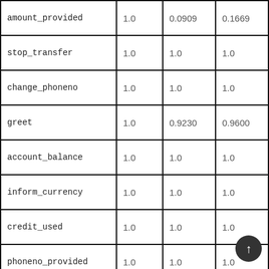|  |  |  |  |
| --- | --- | --- | --- |
| amount_provided | 1.0 | 0.0909 | 0.1669 |
| stop_transfer | 1.0 | 1.0 | 1.0 |
| change_phoneno | 1.0 | 1.0 | 1.0 |
| greet | 1.0 | 0.9230 | 0.9600 |
| account_balance | 1.0 | 1.0 | 1.0 |
| inform_currency | 1.0 | 1.0 | 1.0 |
| credit_used | 1.0 | 1.0 | 1.0 |
| phoneno_provided | 1.0 | 1.0 | 1.0 |